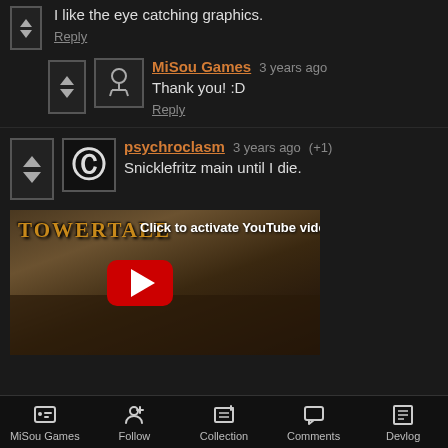I like the eye catching graphics.
Reply
MiSou Games  3 years ago
Thank you! :D
Reply
psychroclasm  3 years ago  (+1)
Snicklefritz main until I die.
[Figure (screenshot): YouTube video thumbnail for Towertale with Click to activate YouTube video text and red play button]
MiSou Games  Follow  Collection  Comments  Devlog